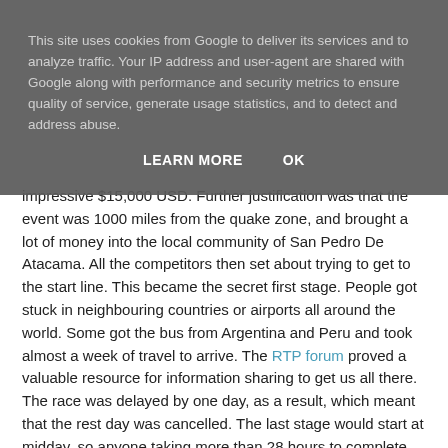This site uses cookies from Google to deliver its services and to analyze traffic. Your IP address and user-agent are shared with Google along with performance and security metrics to ensure quality of service, generate usage statistics, and to detect and address abuse.
LEARN MORE   OK
impressive $15,000 USD. Further justification was that the event was 1000 miles from the quake zone, and brought a lot of money into the local community of San Pedro De Atacama. All the competitors then set about trying to get to the start line. This became the secret first stage. People got stuck in neighbouring countries or airports all around the world. Some got the bus from Argentina and Peru and took almost a week of travel to arrive. The RTP forum proved a valuable resource for information sharing to get us all there. The race was delayed by one day, as a result, which meant that the rest day was cancelled. The last stage would start at midday, so anyone taking more than 28 hours to complete the long day, would be out.
Majorca on the last leg (Santiago to Chile) of our flight...